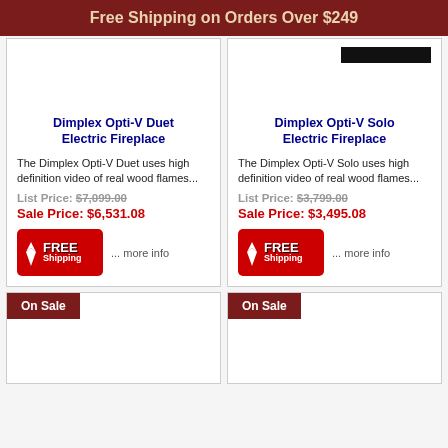Free Shipping on Orders Over $249
Dimplex Opti-V Duet Electric Fireplace
The Dimplex Opti-V Duet uses high definition video of real wood flames...
List Price: $7,099.00
Sale Price: $6,531.08
Dimplex Opti-V Solo Electric Fireplace
The Dimplex Opti-V Solo uses high definition video of real wood flames...
List Price: $3,799.00
Sale Price: $3,495.08
... more info
... more info
On Sale
On Sale